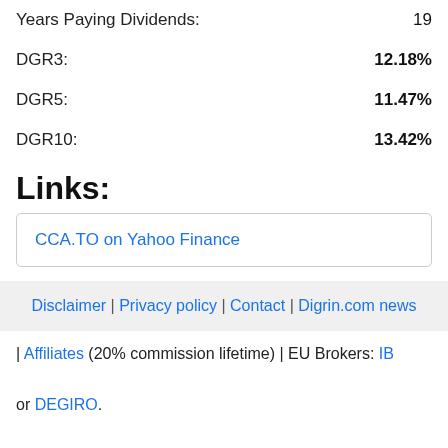Years Paying Dividends: 19
DGR3: 12.18%
DGR5: 11.47%
DGR10: 13.42%
Links:
CCA.TO on Yahoo Finance
Disclaimer | Privacy policy | Contact | Digrin.com news
| Affiliates (20% commission lifetime) | EU Brokers: IB
or DEGIRO.